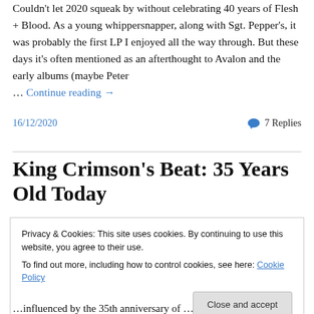Couldn't let 2020 squeak by without celebrating 40 years of Flesh + Blood. As a young whippersnapper, along with Sgt. Pepper's, it was probably the first LP I enjoyed all the way through. But these days it's often mentioned as an afterthought to Avalon and the early albums (maybe Peter … Continue reading →
16/12/2020
7 Replies
King Crimson's Beat: 35 Years Old Today
Privacy & Cookies: This site uses cookies. By continuing to use this website, you agree to their use.
To find out more, including how to control cookies, see here: Cookie Policy
Close and accept
…influenced by the 35th anniversary of …